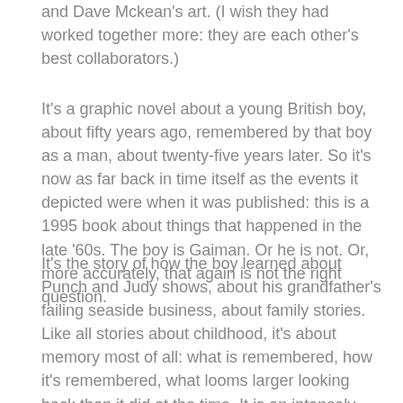and Dave Mckean's art. (I wish they had worked together more: they are each other's best collaborators.)
It's a graphic novel about a young British boy, about fifty years ago, remembered by that boy as a man, about twenty-five years later. So it's now as far back in time itself as the events it depicted were when it was published: this is a 1995 book about things that happened in the late '60s. The boy is Gaiman. Or he is not. Or, more accurately, that again is not the right question.
It's the story of how the boy learned about Punch and Judy shows, about his grandfather's failing seaside business, about family stories. Like all stories about childhood, it's about memory most of all: what is remembered, how it's remembered, what looms larger looking back than it did at the time. It is an intensely told story, constructed carefully by Gaiman even as it seems to be narrated off-the-cuff by the man in the story who is and is not Gaiman.